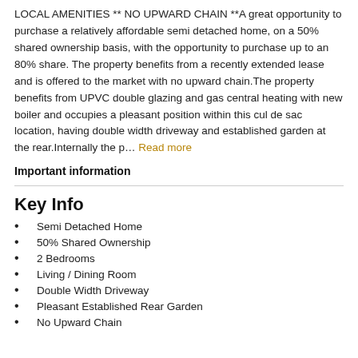LOCAL AMENITIES ** NO UPWARD CHAIN **A great opportunity to purchase a relatively affordable semi detached home, on a 50% shared ownership basis, with the opportunity to purchase up to an 80% share. The property benefits from a recently extended lease and is offered to the market with no upward chain.The property benefits from UPVC double glazing and gas central heating with new boiler and occupies a pleasant position within this cul de sac location, having double width driveway and established garden at the rear.Internally the p… Read more
Important information
Key Info
Semi Detached Home
50% Shared Ownership
2 Bedrooms
Living / Dining Room
Double Width Driveway
Pleasant Established Rear Garden
No Upward Chain